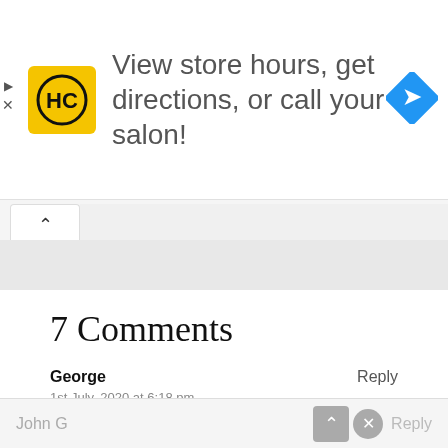[Figure (infographic): Advertisement banner: HC logo (yellow square with black HC letters), text 'View store hours, get directions, or call your salon!', blue diamond navigation icon on the right. Small play and X controls on the left edge.]
7 Comments
George
1st July, 2020 at 6:18 pm
Oh, well, I now know why my hair’s falling out.
John G